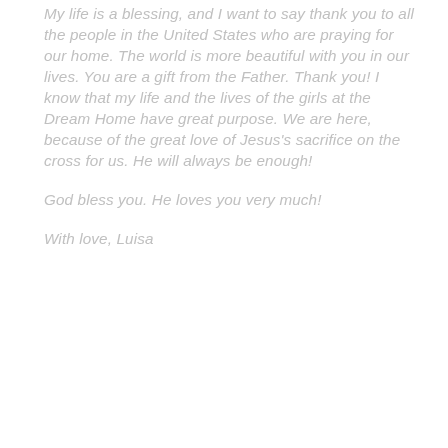My life is a blessing, and I want to say thank you to all the people in the United States who are praying for our home. The world is more beautiful with you in our lives. You are a gift from the Father. Thank you! I know that my life and the lives of the girls at the Dream Home have great purpose. We are here, because of the great love of Jesus's sacrifice on the cross for us. He will always be enough!
God bless you. He loves you very much!
With love, Luisa